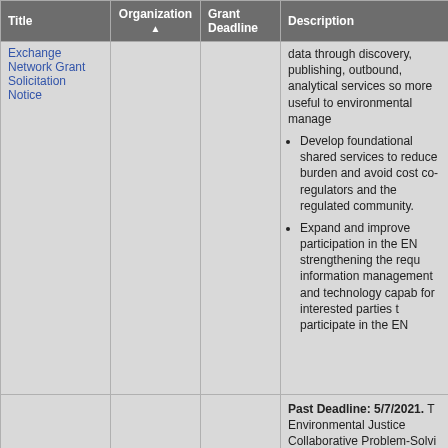| Title | Organization ▲ | Grant Deadline | Description |
| --- | --- | --- | --- |
| Exchange Network Grant Solicitation Notice |  |  | data through discovery, publishing, outbound, analytical services so more useful to environmental manage... • Develop foundational shared services to reduce burden and avoid cost co-regulators and the regulated community. • Expand and improve participation in the EN strengthening the requ information management and technology capabilities for interested parties to participate in the EN |
|  |  |  | Past Deadline: 5/7/2021. The Environmental Justice Collaborative Problem-Solving (EJCPS) Cooperative Agreement... |